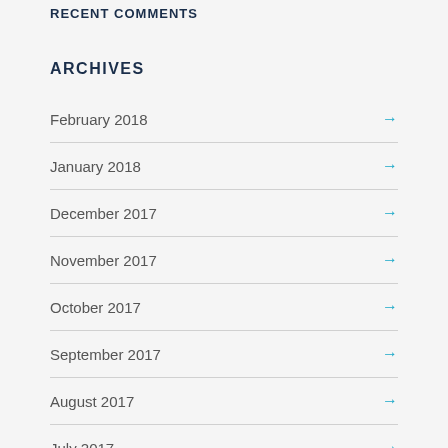RECENT COMMENTS
ARCHIVES
February 2018
January 2018
December 2017
November 2017
October 2017
September 2017
August 2017
July 2017